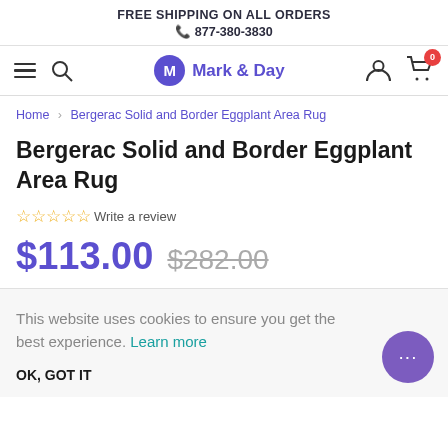FREE SHIPPING ON ALL ORDERS
📞 877-380-3830
[Figure (screenshot): Navigation bar with hamburger menu, search icon, Mark & Day logo, user icon, and cart with 0 items badge]
Home > Bergerac Solid and Border Eggplant Area Rug
Bergerac Solid and Border Eggplant Area Rug
☆☆☆☆☆ Write a review
$113.00  $282.00
This website uses cookies to ensure you get the best experience. Learn more
OK, GOT IT